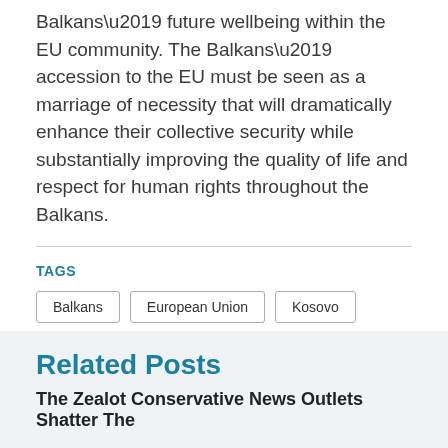Balkans’ future wellbeing within the EU community. The Balkans’ accession to the EU must be seen as a marriage of necessity that will dramatically enhance their collective security while substantially improving the quality of life and respect for human rights throughout the Balkans.
TAGS
Balkans
European Union
Kosovo
SHARE ARTICLE
Related Posts
The Zealot Conservative News Outlets Shatter The